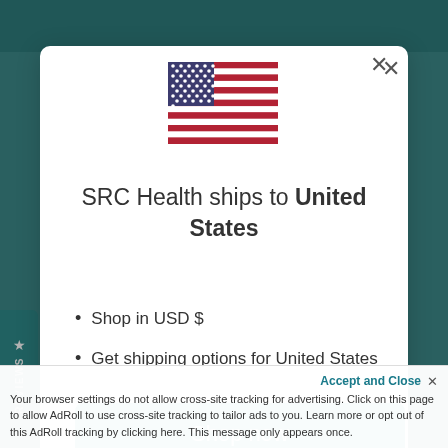[Figure (illustration): US flag icon centered at top of modal]
SRC Health ships to United States
Shop in USD $
Get shipping options for United States
Shop now
Change shipping country
Accept and Close ✕
Your browser settings do not allow cross-site tracking for advertising. Click on this page to allow AdRoll to use cross-site tracking to tailor ads to you. Learn more or opt out of this AdRoll tracking by clicking here. This message only appears once.